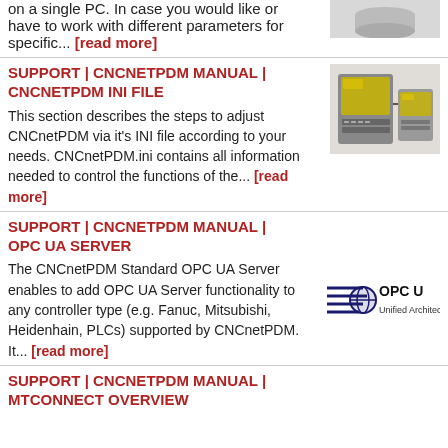on a single PC. In case you would like or have to work with different parameters for specific... [read more]
SUPPORT | CNCNETPDM MANUAL | CNCNETPDM INI FILE
This section describes the steps to adjust CNCnetPDM via it's INI file according to your needs. CNCnetPDM.ini contains all information needed to control the functions of the... [read more]
[Figure (photo): CNC machine controller hardware photo]
SUPPORT | CNCNETPDM MANUAL | OPC UA SERVER
The CNCnetPDM Standard OPC UA Server enables to add OPC UA Server functionality to any controller type (e.g. Fanuc, Mitsubishi, Heidenhain, PLCs) supported by CNCnetPDM. It... [read more]
[Figure (logo): OPC UA logo]
SUPPORT | CNCNETPDM MANUAL | MTCONNECT OVERVIEW